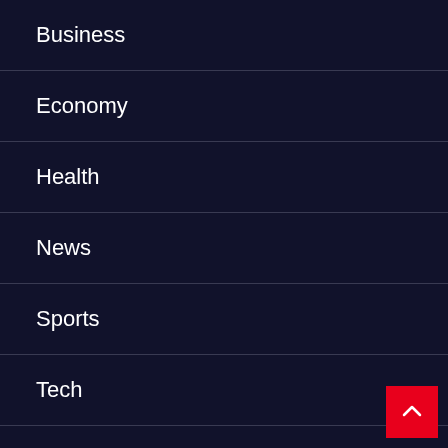Business
Economy
Health
News
Sports
Tech
Uncategorized
Western